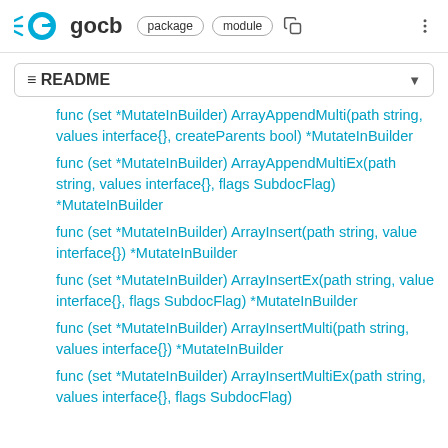GO gocb  package  module
≡ README
func (set *MutateInBuilder) ArrayAppendMulti(path string, values interface{}, createParents bool) *MutateInBuilder
func (set *MutateInBuilder) ArrayAppendMultiEx(path string, values interface{}, flags SubdocFlag) *MutateInBuilder
func (set *MutateInBuilder) ArrayInsert(path string, value interface{}) *MutateInBuilder
func (set *MutateInBuilder) ArrayInsertEx(path string, value interface{}, flags SubdocFlag) *MutateInBuilder
func (set *MutateInBuilder) ArrayInsertMulti(path string, values interface{}) *MutateInBuilder
func (set *MutateInBuilder) ArrayInsertMultiEx(path string, values interface{}, flags SubdocFlag)